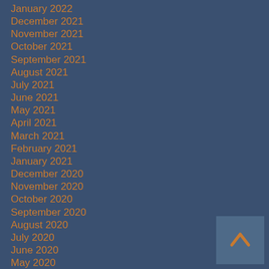January 2022
December 2021
November 2021
October 2021
September 2021
August 2021
July 2021
June 2021
May 2021
April 2021
March 2021
February 2021
January 2021
December 2020
November 2020
October 2020
September 2020
August 2020
July 2020
June 2020
May 2020
April 2020
March 2020
February 2020
January 2020
December 2019
November 2019
[Figure (other): Scroll-to-top button with upward chevron arrow in orange on a steel-blue square background]